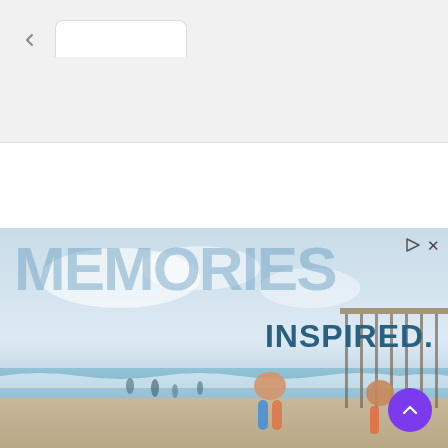[Figure (screenshot): Browser chrome with back button, tab, and address bar on gray background]
[Figure (infographic): Rainbow colored horizontal stripe dividing browser chrome from website header]
[Figure (logo): BIZoom logo with colorful K-shaped icon and bold BIZoom text, hamburger menu on left, search icon on right]
[Figure (photo): Advertisement banner showing beach scene with children running, large text MEMORIES in light blue watermark style, INSPIRED. in dark blue, with ad controls top right and scroll-to-top purple circle button]